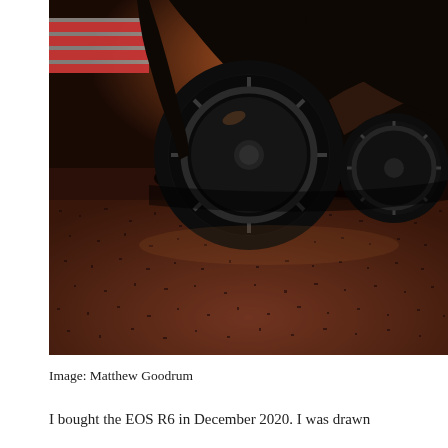[Figure (photo): Close-up low-angle photograph of a dark McLaren sports car on a racetrack, showing the front wheel with a multi-spoke alloy rim, with warm reddish-brown asphalt texture in the foreground and the car body with a glowing headlight in the background. Dramatic warm sunset lighting.]
Image: Matthew Goodrum
I bought the EOS R6 in December 2020. I was drawn